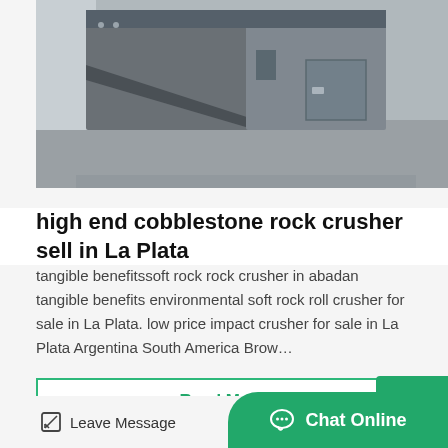[Figure (photo): Industrial rock crusher machine photographed outdoors, gray metal industrial equipment with conveyor/jaw components]
high end cobblestone rock crusher sell in La Plata
tangible benefitssoft rock rock crusher in abadan tangible benefits environmental soft rock roll crusher for sale in La Plata. low price impact crusher for sale in La Plata Argentina South America Brow…
Read More
[Figure (photo): Partial view of industrial crusher or mill equipment, orange/cream colored circular component visible]
Leave Message   Chat Online